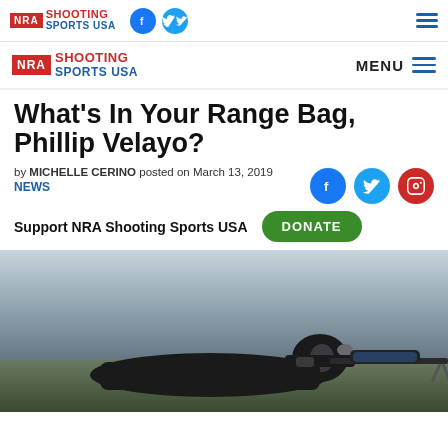NRA Shooting Sports USA — top navigation bar with Facebook and Twitter icons and hamburger menu
NRA Shooting Sports USA — sticky header with MENU and hamburger icon
What's In Your Range Bag, Phillip Velayo?
by MICHELLE CERINO posted on March 13, 2019
NEWS
Support NRA Shooting Sports USA  DONATE
[Figure (photo): Person lying prone aiming a rifle with scope at a shooting range, wearing black clothing and ear protection]